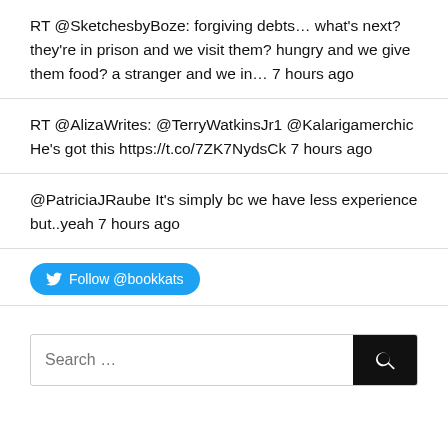RT @SketchesbyBoze: forgiving debts… what's next? they're in prison and we visit them? hungry and we give them food? a stranger and we in… 7 hours ago
RT @AlizaWrites: @TerryWatkinsJr1 @Kalarigamerchic He's got this https://t.co/7ZK7NydsCk 7 hours ago
@PatriciaJRaube It's simply bc we have less experience but..yeah 7 hours ago
Follow @bookkats